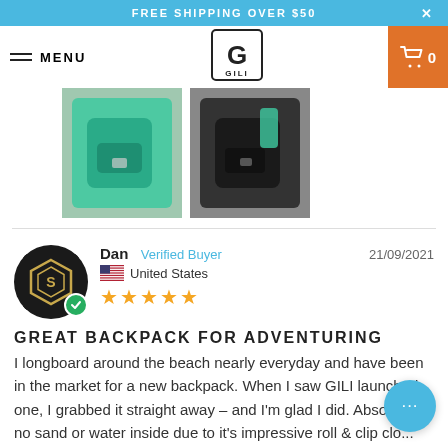FREE SHIPPING OVER $50
MENU  [GILI logo]  [cart 0]
[Figure (photo): Two product photos of GILI backpacks - one teal/green and one black variant, shown from top]
Dan  Verified Buyer  21/09/2021
United States
★★★★★
GREAT BACKPACK FOR ADVENTURING
I longboard around the beach nearly everyday and have been in the market for a new backpack. When I saw GILI launched one, I grabbed it straight away – and I'm glad I did. Absolutely no sand or water inside due to it's impressive roll & clip closing system, which is huge for me seeing as I'm on the beach nearly everyday. It doesn't